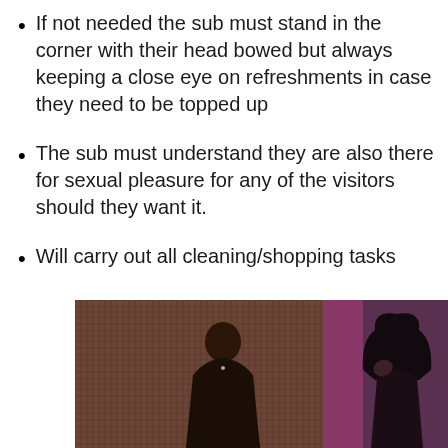If not needed the sub must stand in the corner with their head bowed but always keeping a close eye on refreshments in case they need to be topped up
The sub must understand they are also there for sexual pleasure for any of the visitors should they want it.
Will carry out all cleaning/shopping tasks
[Figure (photo): Two photographs side by side: left shows a woman in black lingerie from behind against a dark textured background; right shows a woman with long dark hair looking at camera against a pink/purple background.]